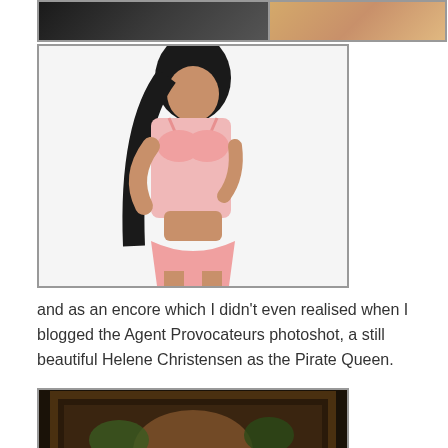[Figure (photo): Top-left partial photo showing a person in dark clothing, partially cropped]
[Figure (photo): Top-right partial photo showing warm-toned image, partially cropped]
[Figure (photo): Center-left photo of a woman in pink lingerie against a white background]
and as an encore which I didn’t even realised when I blogged the Agent Provocateurs photoshot, a still beautiful Helene Christensen as the Pirate Queen.
[Figure (photo): Bottom-left partial photo showing a dark-toned artistic scene, partially cropped at page bottom]